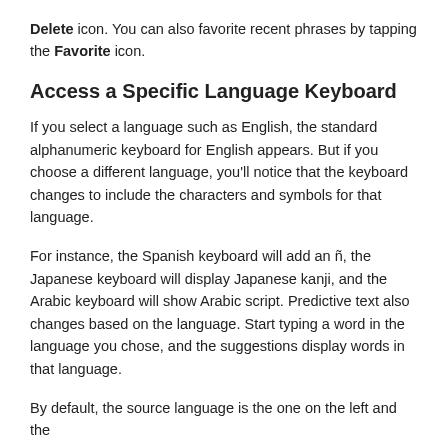Delete icon. You can also favorite recent phrases by tapping the Favorite icon.
Access a Specific Language Keyboard
If you select a language such as English, the standard alphanumeric keyboard for English appears. But if you choose a different language, you'll notice that the keyboard changes to include the characters and symbols for that language.
For instance, the Spanish keyboard will add an ñ, the Japanese keyboard will display Japanese kanji, and the Arabic keyboard will show Arabic script. Predictive text also changes based on the language. Start typing a word in the language you chose, and the suggestions display words in that language.
By default, the source language is the one on the left and the